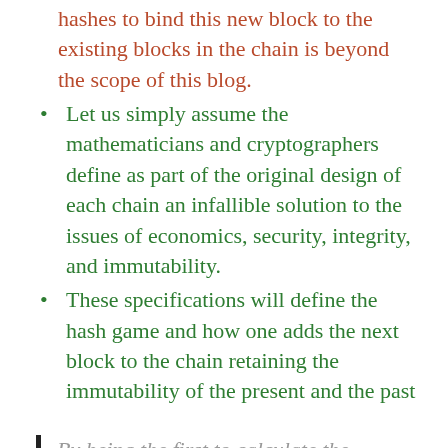hashes to bind this new block to the existing blocks in the chain is beyond the scope of this blog.
Let us simply assume the mathematicians and cryptographers define as part of the original design of each chain an infallible solution to the issues of economics, security, integrity, and immutability.
These specifications will define the hash game and how one adds the next block to the chain retaining the immutability of the present and the past
By being the first to calculate the cryptographic nonce